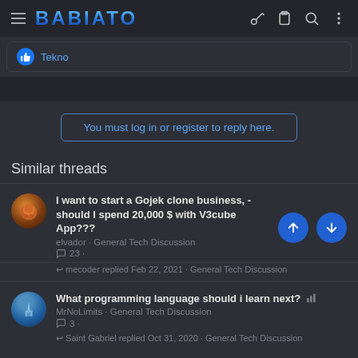BABIATO
Tekno
You must log in or register to reply here.
Similar threads
I want to start a Gojek clone business, - should I spend 20,000 $ with V3cube App???
elvador · General Tech Discussion
23
mecoder replied Feb 22, 2021 · General Tech Discussion
What programming language should i learn next?
MrNoLimits · General Tech Discussion
3
Saint Gabriel replied Oct 31, 2020 · General Tech Discussion